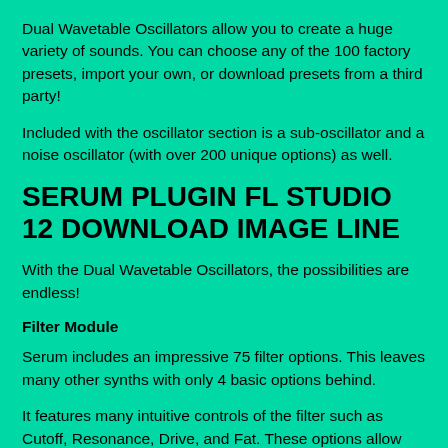Dual Wavetable Oscillators allow you to create a huge variety of sounds. You can choose any of the 100 factory presets, import your own, or download presets from a third party!
Included with the oscillator section is a sub-oscillator and a noise oscillator (with over 200 unique options) as well.
SERUM PLUGIN FL STUDIO 12 DOWNLOAD IMAGE LINE
With the Dual Wavetable Oscillators, the possibilities are endless!
Filter Module
Serum includes an impressive 75 filter options. This leaves many other synths with only 4 basic options behind.
It features many intuitive controls of the filter such as Cutoff, Resonance, Drive, and Fat. These options allow you to tweak the filters to your exact liking.
Effects
Serum features 10 unique effects that add character and texture to